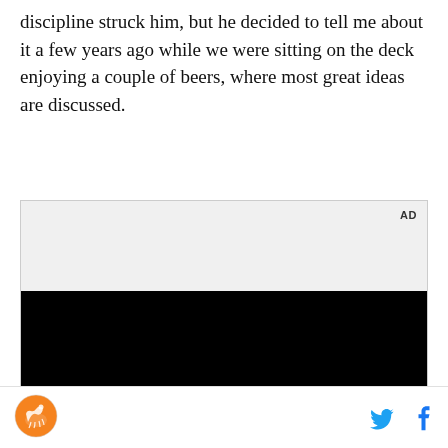discipline struck him, but he decided to tell me about it a few years ago while we were sitting on the deck enjoying a couple of beers, where most great ideas are discussed.
[Figure (other): Advertisement placeholder box with light gray background and 'AD' label in top-right, lower half is solid black (ad content area)]
[Figure (logo): Circular orange and white logo with a stylized horse/rider illustration]
[Figure (other): Twitter bird icon in blue and Facebook 'f' icon in blue, used as social sharing buttons]